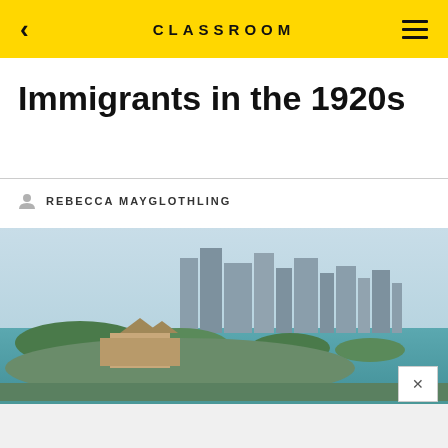CLASSROOM
Immigrants in the 1920s
REBECCA MAYGLOTHLING
[Figure (photo): Aerial photograph of Ellis Island with New York City skyline in the background, surrounded by blue-green water.]
American immigration suffered in the 1920s because of restrictive acts such as the